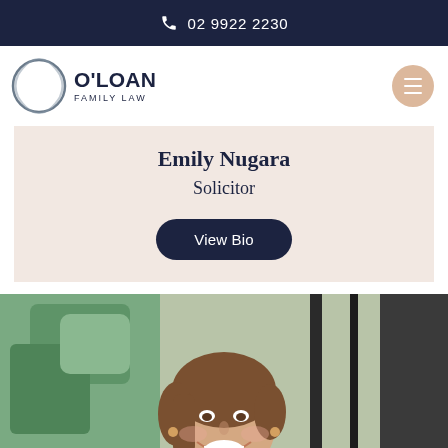02 9922 2230
[Figure (logo): O'Loan Family Law logo with circular brushstroke and text]
Emily Nugara
Solicitor
View Bio
[Figure (photo): Smiling woman with brown hair, photographed indoors near a window with greenery visible outside]